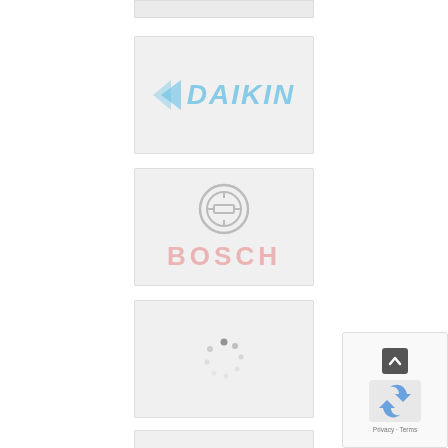[Figure (logo): Partially visible top card/image placeholder at the very top of the page]
[Figure (logo): Daikin brand logo on light gray card background, showing blue italic DAIKIN text with chevron mark]
[Figure (logo): Bosch brand logo on light gray card background, showing gray circle icon and pink/red BOSCH text]
[Figure (other): Loading spinner (circular dots) on gray card background - image loading state]
[Figure (other): Partially visible loading spinner on gray card at bottom of page]
[Figure (other): reCAPTCHA widget overlay in bottom right corner with scroll-up arrow, Privacy and Terms links]